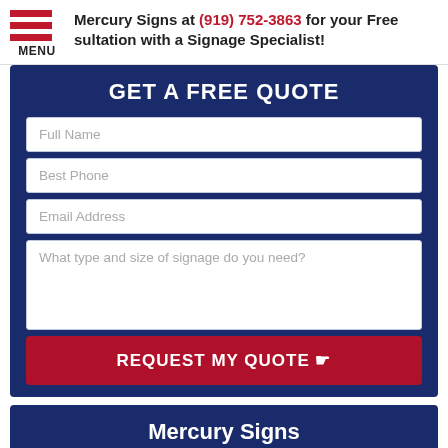Mercury Signs at (919) 752-3863 for your Free Consultation with a Signage Specialist!
GET A FREE QUOTE
Full Name
Best Phone
Email Address
What type and size of signage do you need?
REQUEST MY QUOTE
Mercury Signs
RATED 5.0 STARS